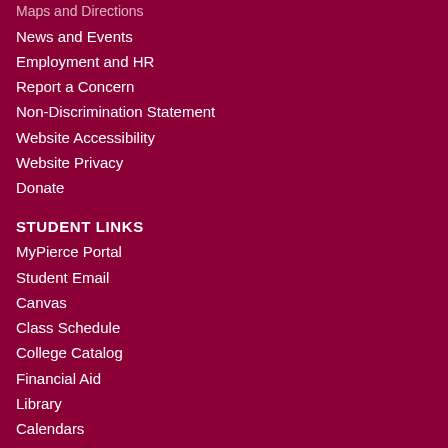Maps and Directions
News and Events
Employment and HR
Report a Concern
Non-Discrimination Statement
Website Accessibility
Website Privacy
Donate
STUDENT LINKS
MyPierce Portal
Student Email
Canvas
Class Schedule
College Catalog
Financial Aid
Library
Calendars
Finals Schedule
Bookstores
Emergency Alerts